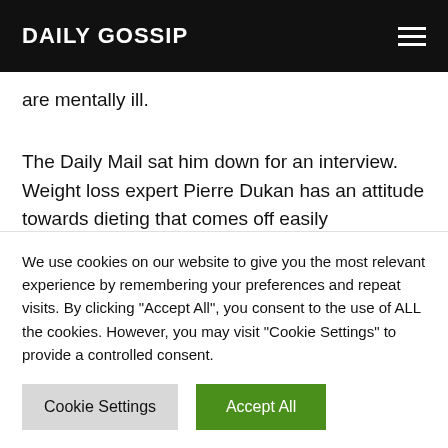DAILY GOSSIP
are mentally ill.
The Daily Mail sat him down for an interview. Weight loss expert Pierre Dukan has an attitude towards dieting that comes off easily controversial in America. His point of view is simple: “my regime is about
We use cookies on our website to give you the most relevant experience by remembering your preferences and repeat visits. By clicking “Accept All”, you consent to the use of ALL the cookies. However, you may visit "Cookie Settings" to provide a controlled consent.